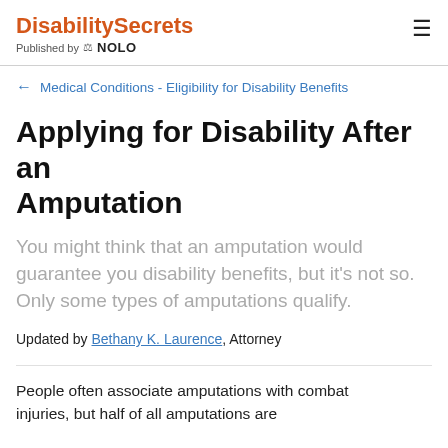DisabilitySecrets — Published by NOLO
← Medical Conditions - Eligibility for Disability Benefits
Applying for Disability After an Amputation
You might think that an amputation would guarantee you disability benefits, but it's not so. Only some types of amputations qualify.
Updated by Bethany K. Laurence, Attorney
People often associate amputations with combat injuries, but half of all amputations are